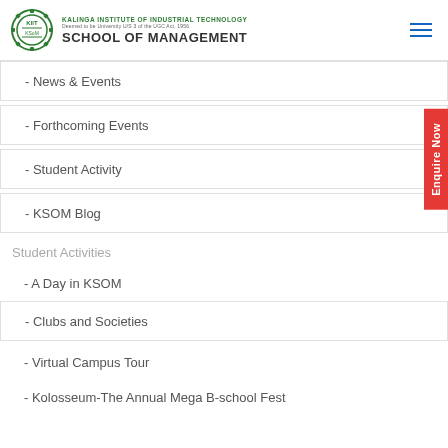KALINGA INSTITUTE OF INDUSTRIAL TECHNOLOGY
Deemed to be University U/S 3 of the UGC Act, 1956
SCHOOL OF MANAGEMENT
- News & Events
- Forthcoming Events
- Student Activity
- KSOM Blog
Student Activities
- A Day in KSOM
- Clubs and Societies
- Virtual Campus Tour
- Kolosseum-The Annual Mega B-school Fest